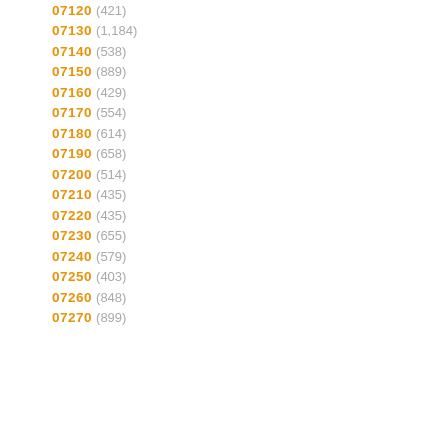07120 (421)
07130 (1,184)
07140 (538)
07150 (889)
07160 (429)
07170 (554)
07180 (614)
07190 (658)
07200 (514)
07210 (435)
07220 (435)
07230 (655)
07240 (579)
07250 (403)
07260 (848)
07270 (899)